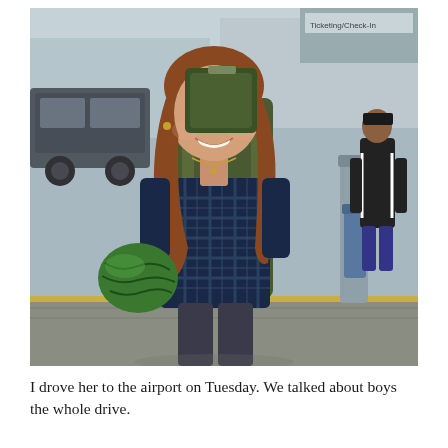[Figure (photo): A smiling young woman with long reddish-brown hair wearing a blue plaid flannel shirt and carrying a large green hiking backpack on her back, holding a green patterned bundle in her arm. She is standing outdoors at what appears to be an airport drop-off curb. A man in a black jacket is visible in the background on the right, and a large cylindrical blue trash can or bollard is also visible. There are parked/moving vehicles on the left. The setting is a busy airport exterior.]
I drove her to the airport on Tuesday. We talked about boys the whole drive.